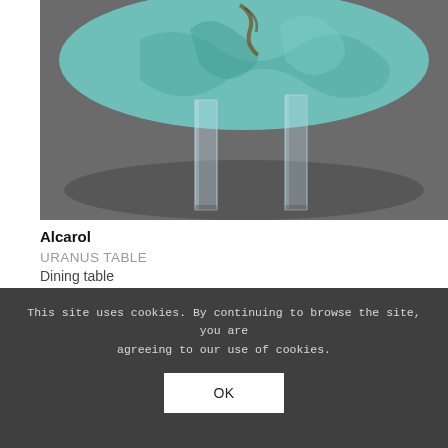[Figure (photo): A round dining table with a turquoise/teal mineral or resin tabletop with organic edges, supported by clear acrylic/lucite legs, photographed from below against a dark grey background.]
Alcarol
URANUS TABLE
Dining table
[Figure (photo): Partial view of another product, dark/black form visible at the bottom of a bordered box, partially obscured by cookie consent overlay.]
This site uses cookies. By continuing to browse the site, you are agreeing to our use of cookies.
OK